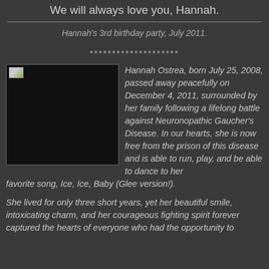We will always love you, Hannah.
Hannah's 3rd birthday party, July 2011.
********************
[Figure (photo): Black photo box with small image placeholder in top-left corner]
Hannah Ostrea, born July 25, 2008, passed away peacefully on December 4, 2011, surrounded by her family following a lifelong battle against Neuronopathic Gaucher's Disease. In our hearts, she is now free from the prison of this disease and is able to run, play, and be able to dance to her favorite song, Ice, Ice, Baby (Glee version!).
She lived for only three short years, yet her beautiful smile, intoxicating charm, and her courageous fighting spirit forever captured the hearts of everyone who had the opportunity to